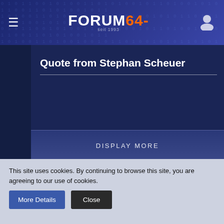FORUM64-
Quote from Stephan Scheuer
DISPLAY MORE
From what Stephan posted, the SD2IEC doesn't fully support handling the REL filetype. If you take a look into the Phantasie images, there are two REL files. "mn" contains all the encounter data and "scrolls" the text of the scrolls with the background story you find in the game. So with SD2IEC the game will crash every time when an encounter appears or you read a scroll.
This site uses cookies. By continuing to browse this site, you are agreeing to our use of cookies.